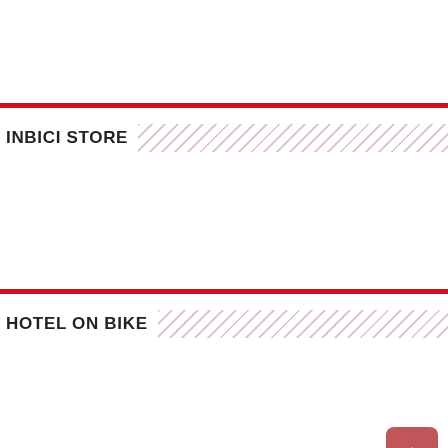[Figure (other): Top white content area with red bottom border]
INBICI STORE
[Figure (other): INBICI STORE white content area with red bottom border]
HOTEL ON BIKE
[Figure (other): HOTEL ON BIKE white content area with red bottom border and back-to-top button]